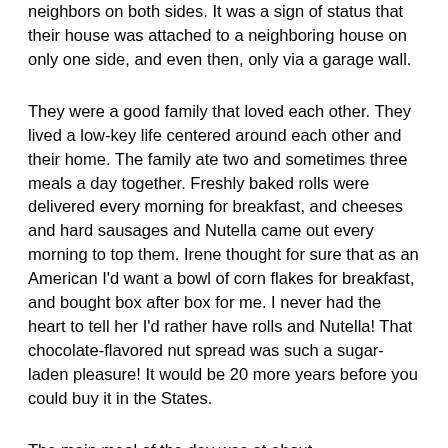neighbors on both sides. It was a sign of status that their house was attached to a neighboring house on only one side, and even then, only via a garage wall.
They were a good family that loved each other. They lived a low-key life centered around each other and their home. The family ate two and sometimes three meals a day together. Freshly baked rolls were delivered every morning for breakfast, and cheeses and hard sausages and Nutella came out every morning to top them. Irene thought for sure that as an American I'd want a bowl of corn flakes for breakfast, and bought box after box for me. I never had the heart to tell her I'd rather have rolls and Nutella! That chocolate-flavored nut spread was such a sugar-laden pleasure! It would be 20 more years before you could buy it in the States.
The main meal of the day was at about